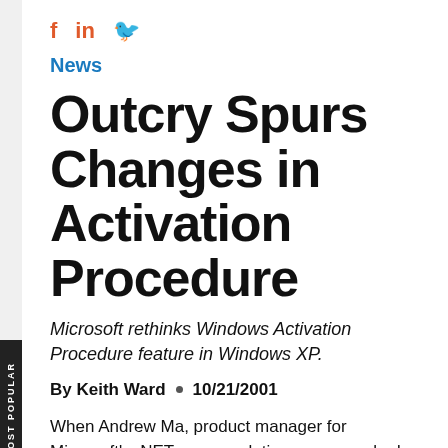f  in  🐦
News
Outcry Spurs Changes in Activation Procedure
Microsoft rethinks Windows Activation Procedure feature in Windows XP.
By Keith Ward  ▪  10/21/2001
When Andrew Ma, product manager for Microsoft's .NET server solutions group, asked MCP TechMentor conference